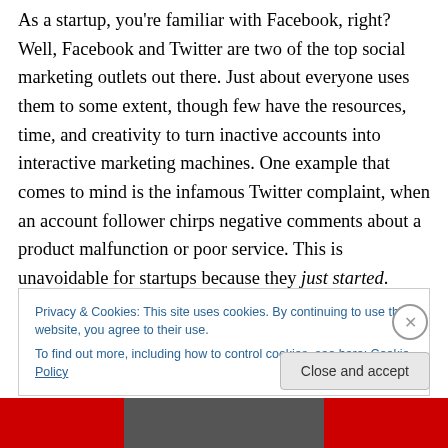As a startup, you're familiar with Facebook, right? Well, Facebook and Twitter are two of the top social marketing outlets out there. Just about everyone uses them to some extent, though few have the resources, time, and creativity to turn inactive accounts into interactive marketing machines. One example that comes to mind is the infamous Twitter complaint, when an account follower chirps negative comments about a product malfunction or poor service. This is unavoidable for startups because they just started. There's no room for excuses, however, and instead of marking the tweet as spam you should
Privacy & Cookies: This site uses cookies. By continuing to use this website, you agree to their use.
To find out more, including how to control cookies, see here: Cookie Policy